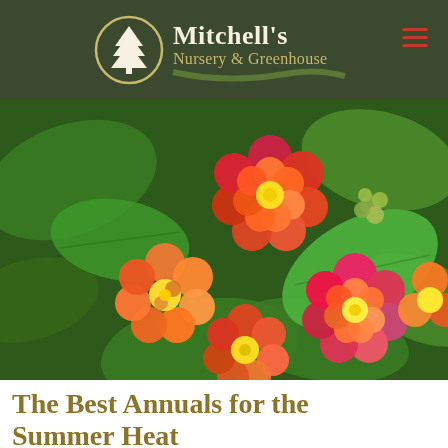Mitchell's Nursery & Greenhouse
[Figure (photo): Close-up photograph of colorful lantana flowers with red, orange, yellow, and pink blooms against green foliage]
The Best Annuals for the Summer Heat
Once the temperatures start rising, many plants struggle